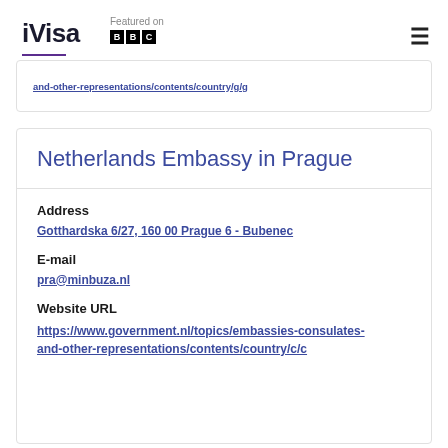iVisa — Featured on BBC
and-other-representations/contents/country/g/g
Netherlands Embassy in Prague
Address
Gotthardska 6/27, 160 00 Prague 6 - Bubenec
E-mail
pra@minbuza.nl
Website URL
https://www.government.nl/topics/embassies-consulates-and-other-representations/contents/country/c/c